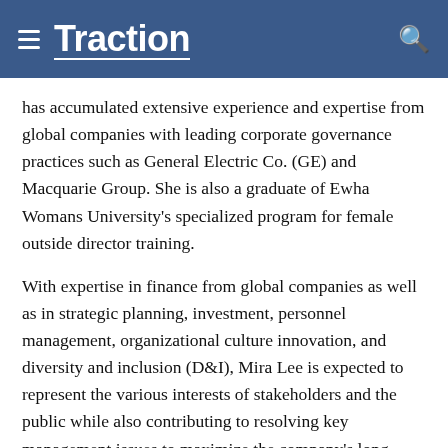Traction
has accumulated extensive experience and expertise from global companies with leading corporate governance practices such as General Electric Co. (GE) and Macquarie Group. She is also a graduate of Ewha Womans University's specialized program for female outside director training.
With expertise in finance from global companies as well as in strategic planning, investment, personnel management, organizational culture innovation, and diversity and inclusion (D&I), Mira Lee is expected to represent the various interests of stakeholders and the public while also contributing to resolving key management issues to maximize the company's long-term growth and corporate value.
RELATED ITEMS: AUTO INDUSTRY, AUTO NEWS, FEATURED,